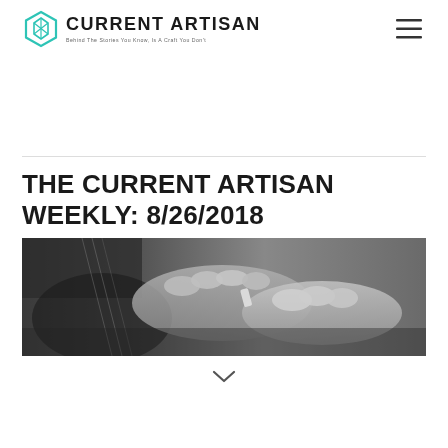[Figure (logo): Current Artisan logo with teal hexagon icon, bold text CURRENT ARTISAN, tagline: Behind The Stories You Know, Is A Craft You Don't]
[Figure (illustration): Hamburger menu icon (three horizontal lines)]
THE CURRENT ARTISAN WEEKLY: 8/26/2018
[Figure (photo): Black and white photo of hands working on a guitar or stringed instrument]
[Figure (other): Down chevron / arrow icon at bottom center]